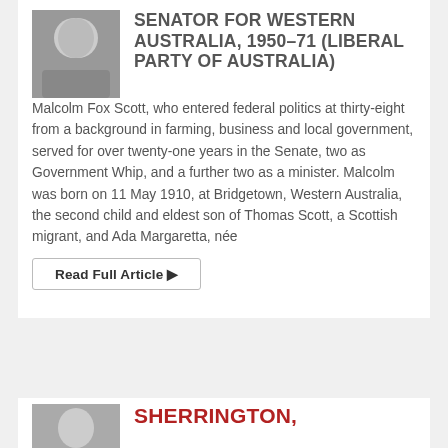[Figure (photo): Black and white portrait photo of a man in a suit]
SENATOR FOR WESTERN AUSTRALIA, 1950–71 (LIBERAL PARTY OF AUSTRALIA)
Malcolm Fox Scott, who entered federal politics at thirty-eight from a background in farming, business and local government, served for over twenty-one years in the Senate, two as Government Whip, and a further two as a minister. Malcolm was born on 11 May 1910, at Bridgetown, Western Australia, the second child and eldest son of Thomas Scott, a Scottish migrant, and Ada Margaretta, née
Read Full Article ▶
[Figure (photo): Black and white portrait photo of a person]
SHERRINGTON,